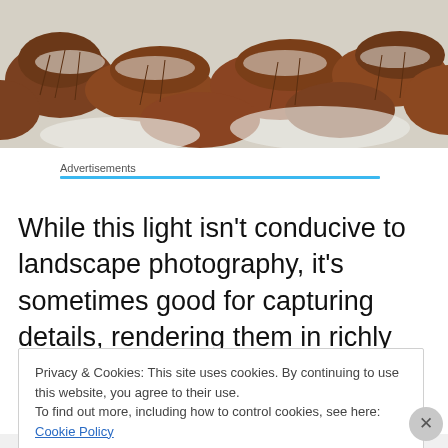[Figure (photo): Snow-covered landscape with reddish-brown shrubs and bushes dusted with snow, viewed from above at an angle.]
Advertisements
While this light isn't conducive to landscape photography, it's sometimes good for capturing details, rendering them in richly saturated hues.  Such was the case with these
Privacy & Cookies: This site uses cookies. By continuing to use this website, you agree to their use.
To find out more, including how to control cookies, see here: Cookie Policy